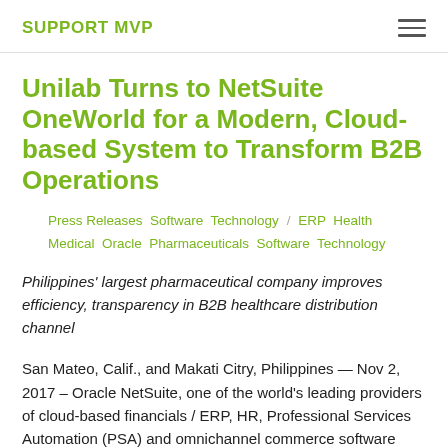SUPPORT MVP
Unilab Turns to NetSuite OneWorld for a Modern, Cloud-based System to Transform B2B Operations
Press Releases  Software  Technology  /  ERP  Health  Medical  Oracle  Pharmaceuticals  Software  Technology
Philippines' largest pharmaceutical company improves efficiency, transparency in B2B healthcare distribution channel
San Mateo, Calif., and Makati Citry, Philippines — Nov 2, 2017 – Oracle NetSuite, one of the world's leading providers of cloud-based financials / ERP, HR, Professional Services Automation (PSA) and omnichannel commerce software suites, announced